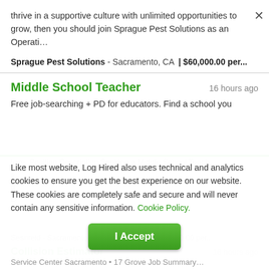thrive in a supportive culture with unlimited opportunities to grow, then you should join Sprague Pest Solutions as an Operati…
Sprague Pest Solutions - Sacramento, CA  | $60,000.00 per...
Middle School Teacher
16 hours ago
Free job-searching + PD for educators. Find a school you love. Position Description Seeking a Middle School Teach...
Like most website, Log Hired also uses technical and analytics cookies to ensure you get the best experience on our website. These cookies are completely safe and secure and will never contain any sensitive information. Cookie Policy.
I Accept
Collision Estimator
16 hours ago
Service Center Sacramento • 17 Grove Job Summary...